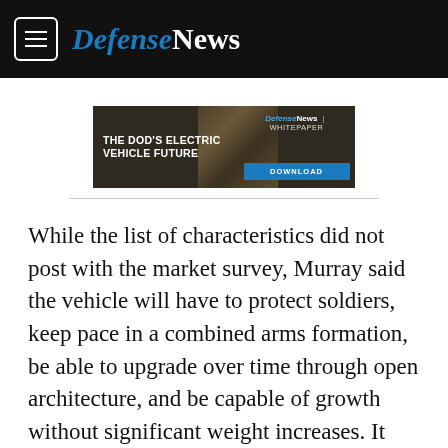DefenseNews
[Figure (infographic): Advertisement banner: THE DOD'S ELECTRIC VEHICLE FUTURE — DefenseNews | WHITEPAPER — DOWNLOAD button, with military vehicle image]
While the list of characteristics did not post with the market survey, Murray said the vehicle will have to protect soldiers, keep pace in a combined arms formation, be able to upgrade over time through open architecture, and be capable of growth without significant weight increases. It also must be lethal, and able to traverse bridges and main supply routes.